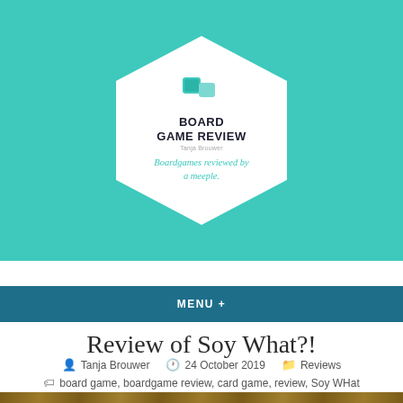[Figure (logo): Board Game Review logo with hexagon shape, teal background, blue cube icons, text 'BOARD GAME REVIEW' and tagline 'Boardgames reviewed by a meeple']
MENU +
Review of Soy What?!
Tanja Brouwer   24 October 2019   Reviews
board game, boardgame review, card game, review, Soy WHat
[Figure (photo): Photo of Soy What?! card game cards on a wooden table background. Cards visible include one with a cute character and one with text 'your' and game cards.]